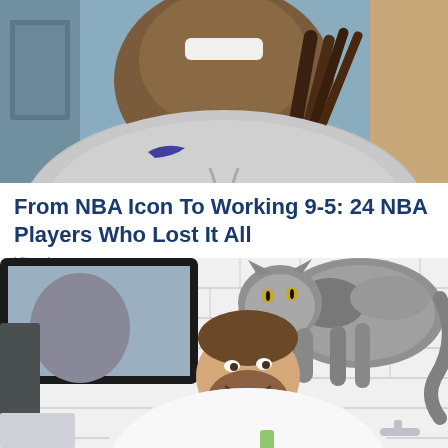[Figure (photo): A smiling man with neck tattoos and dreadlocks wearing a grey Nike hoodie, photographed outdoors in front of a building]
From NBA Icon To Working 9-5: 24 NBA Players Who Lost It All
Vitaminews
[Figure (photo): A man with a beard wearing a white t-shirt leans over a bathroom sink while a grey and white cat perches on his back/shoulder, bathroom has white subway tiles and a mirror]